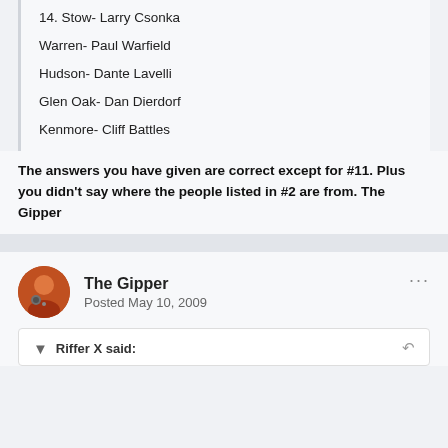14. Stow- Larry Csonka
Warren- Paul Warfield
Hudson- Dante Lavelli
Glen Oak- Dan Dierdorf
Kenmore- Cliff Battles
The answers you have given are correct except for #11. Plus you didn't say where the people listed in #2 are from. The Gipper
The Gipper
Posted May 10, 2009
Riffer X said: